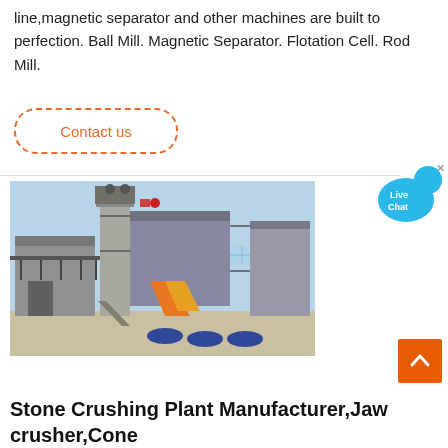line,magnetic separator and other machines are built to perfection. Ball Mill. Magnetic Separator. Flotation Cell. Rod Mill.
Contact us
[Figure (photo): Industrial stone crushing plant / mineral processing facility with large multi-story steel structure, conveyor belts, and orange chute components against a blue sky.]
[Figure (other): Live Chat bubble widget in the top-right corner]
Stone Crushing Plant Manufacturer,Jaw crusher,Cone